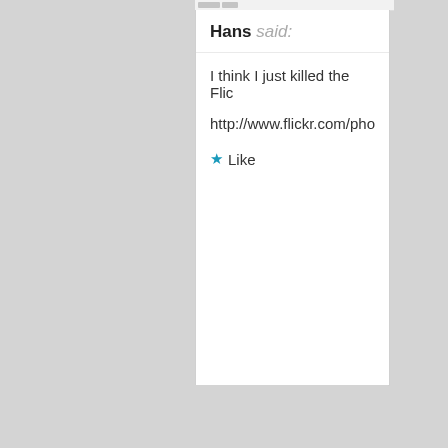Hans said:
I think I just killed the Flic
http://www.flickr.com/pho
Like
[Figure (photo): Avatar photo of fuzie showing a young woman with light hair]
fuzie said:
Brad Sorenson. Nice, cle
Like
[Figure (illustration): Avatar illustration of a cartoon man face with black hair]